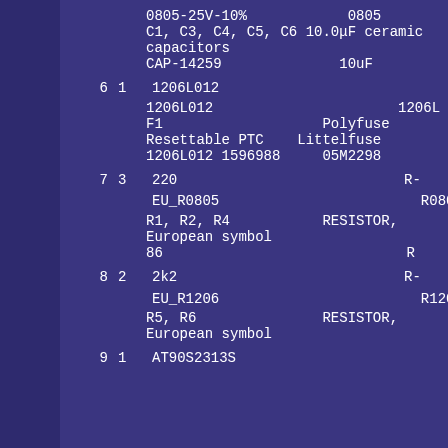| # | Qty | Description |
| --- | --- | --- |
|  |  | 0805-25V-10%                0805 |
|  |  | C1, C3, C4, C5, C6 10.0μF ceramic capacitors |
|  |  | CAP-14259              10uF |
| 6 | 1 | 1206L012 |
|  |  | 1206L012                      1206L |
|  |  | F1                   Polyfuse Resettable PTC    Littelfuse |
|  |  | 1206L012 1596988     05M2298 |
| 7 | 3 | 220                           R-EU_R0805                        R0805 |
|  |  | R1, R2, R4           RESISTOR, European symbol |
|  |  | 86                             R |
| 8 | 2 | 2k2                           R-EU_R1206                        R1206 |
|  |  | R5, R6               RESISTOR, European symbol |
| 9 | 1 | AT90S2313S |